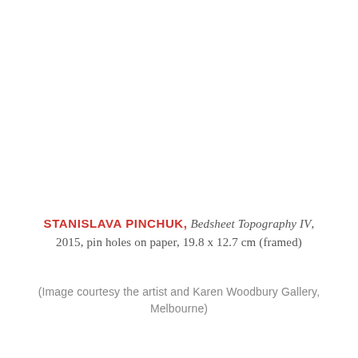STANISLAVA PINCHUK, Bedsheet Topography IV, 2015, pin holes on paper, 19.8 x 12.7 cm (framed)
(Image courtesy the artist and Karen Woodbury Gallery, Melbourne)